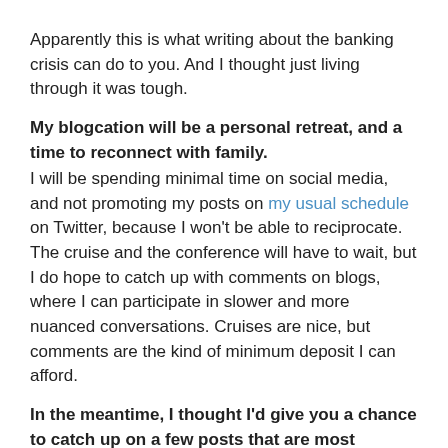Apparently this is what writing about the banking crisis can do to you. And I thought just living through it was tough.
My blogcation will be a personal retreat, and a time to reconnect with family.
I will be spending minimal time on social media, and not promoting my posts on my usual schedule on Twitter, because I won't be able to reciprocate.  The cruise and the conference will have to wait, but I do hope to catch up with comments on blogs, where I can participate in slower and more nuanced conversations. Cruises are nice, but comments are the kind of minimum deposit I can afford.
In the meantime, I thought I'd give you a chance to catch up on a few posts that are most important to me.